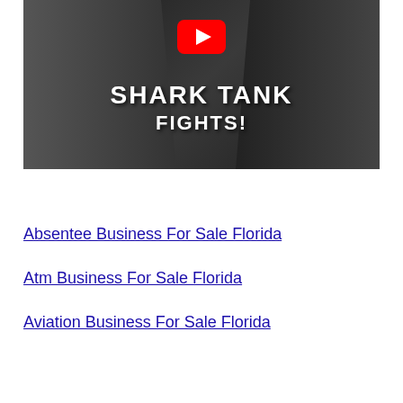[Figure (screenshot): YouTube video thumbnail showing two men (TV sharks) with text 'SHARK TANK FIGHTS!' and a YouTube play button overlay]
Absentee Business For Sale Florida
Atm Business For Sale Florida
Aviation Business For Sale Florida